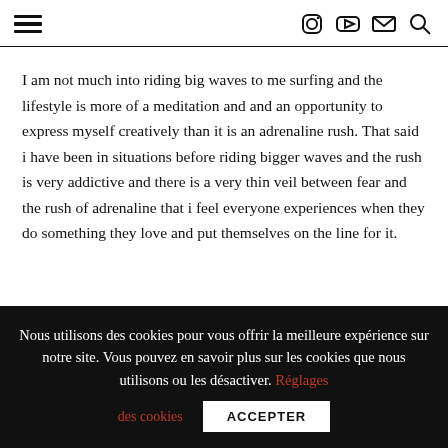Navigation header with hamburger menu and social icons (Instagram, YouTube, Email, Search)
I am not much into riding big waves to me surfing and the lifestyle is more of a meditation and and an opportunity to express myself creatively than it is an adrenaline rush. That said i have been in situations before riding bigger waves and the rush is very addictive and there is a very thin veil between fear and the rush of adrenaline that i feel everyone experiences when they do something they love and put themselves on the line for it.
Nous utilisons des cookies pour vous offrir la meilleure expérience sur notre site. Vous pouvez en savoir plus sur les cookies que nous utilisons ou les désactiver. Réglages des cookies ACCEPTER